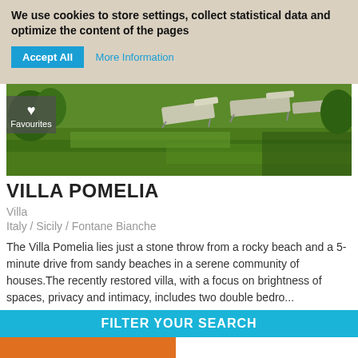We use cookies to store settings, collect statistical data and optimize the content of the pages
Accept All   More Information
[Figure (photo): Outdoor lawn area with lounge chairs on green grass, with a Favourites button overlay]
VILLA POMELIA
Villa
Italy / Sicily / Fontane Bianche
The Villa Pomelia lies just a stone throw from a rocky beach and a 5-minute drive from sandy beaches in a serene community of houses.The recently restored villa, with a focus on brightness of spaces, privacy and intimacy, includes two double bedro...
Coast  |  5 persons  |  from 231 EUR
FILTER YOUR SEARCH